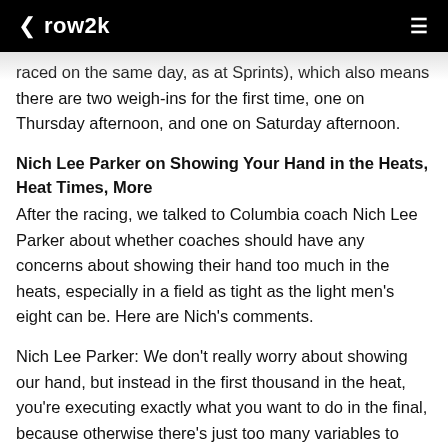‹ row2k ≡
raced on the same day, as at Sprints), which also means there are two weigh-ins for the first time, one on Thursday afternoon, and one on Saturday afternoon.
Nich Lee Parker on Showing Your Hand in the Heats, Heat Times, More
After the racing, we talked to Columbia coach Nich Lee Parker about whether coaches should have any concerns about showing their hand too much in the heats, especially in a field as tight as the light men's eight can be. Here are Nich's comments.
Nich Lee Parker: We don't really worry about showing our hand, but instead in the first thousand in the heat, you're executing exactly what you want to do in the final, because otherwise there's just too many variables to control, and we're trying to keep it simple for the guys so they can focus on simple execution plan, and we don't distract them from too much. The fancier you get, the more likely you are to make a mistake. Or you find that you're half a length behind, even if